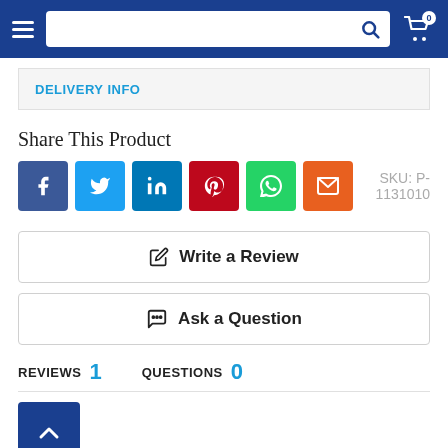Navigation header with hamburger menu, search bar, and cart icon (0 items)
DELIVERY INFO
Share This Product
SKU: P-1131010
[Figure (infographic): Social media share icons: Facebook, Twitter, LinkedIn, Pinterest, WhatsApp, Email]
Write a Review
Ask a Question
REVIEWS 1   QUESTIONS 0